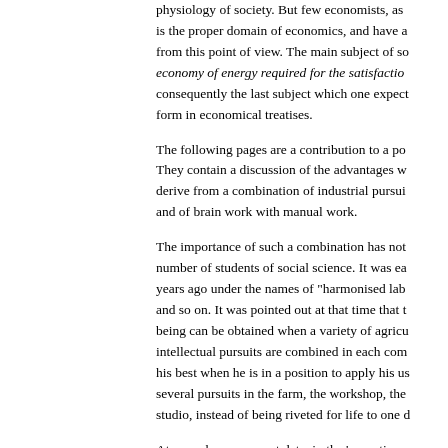physiology of society. But few economists, as is the proper domain of economics, and have a from this point of view. The main subject of so economy of energy required for the satisfaction consequently the last subject which one expect form in economical treatises.
The following pages are a contribution to a por They contain a discussion of the advantages w derive from a combination of industrial pursuit and of brain work with manual work.
The importance of such a combination has not number of students of social science. It was ea years ago under the names of "harmonised labe and so on. It was pointed out at that time that t being can be obtained when a variety of agricu intellectual pursuits are combined in each com his best when he is in a position to apply his us several pursuits in the farm, the workshop, the studio, instead of being riveted for life to one d
At a much more recent date, in the 'seventies, evolution gave origin in Russia to a remarkabl Progress, by M. M. Mikhailovsky. The part wh